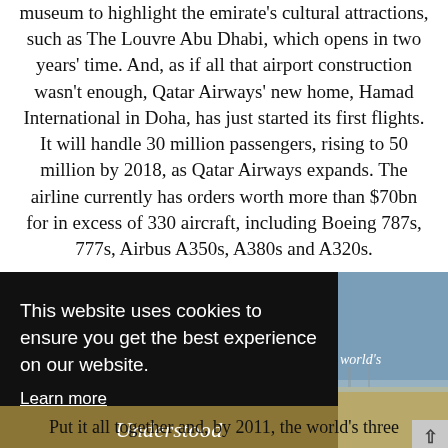museum to highlight the emirate's cultural attractions, such as The Louvre Abu Dhabi, which opens in two years' time. And, as if all that airport construction wasn't enough, Qatar Airways' new home, Hamad International in Doha, has just started its first flights. It will handle 30 million passengers, rising to 50 million by 2018, as Qatar Airways expands. The airline currently has orders worth more than $70bn for in excess of 330 aircraft, including Boeing 787s, 777s, Airbus A350s, A380s and A320s.
[Figure (photo): Aerial photo of what appears to be an airport or airfield, with sky above and sandy ground below. The word 'world's' is overlaid in italic text.]
This website uses cookies to ensure you get the best experience on our website. Learn more
Understood
Put it all together and, by 2011, the world's three